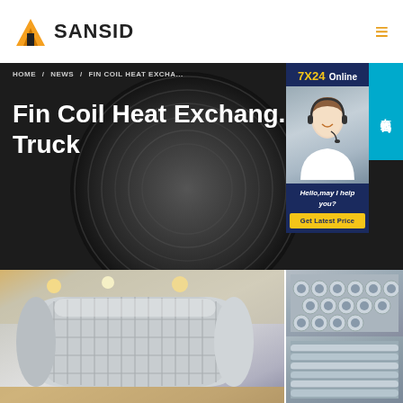[Figure (logo): SANSID company logo with orange building icon and text]
HOME / NEWS / FIN COIL HEAT EXCHA...
Fin Coil Heat Exchang... Truck
[Figure (photo): Customer service agent with headset, 7X24 Online support panel with Chinese text tab (在线咨询), Hello may I help you? and Get Latest Price button]
[Figure (photo): Large industrial fin coil heat exchanger in factory setting]
[Figure (photo): Bundle of metal tubes/pipes for heat exchanger]
[Figure (photo): Stack of metal tubes/rods for heat exchanger construction]